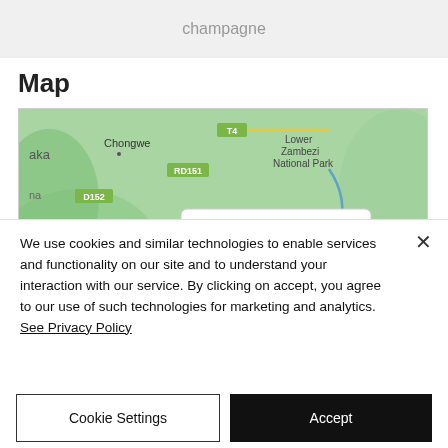champagne
Map
[Figure (map): Map showing Little Ruckomechí location near Chongwe, Lower Zambezi National Park, Mana Pools National Park, Chirundu. Roads labeled T4, RD151, D152, RD491, T2. A popup tooltip shows 'Little Ruckomechí' with a 'Directions' link.]
We use cookies and similar technologies to enable services and functionality on our site and to understand your interaction with our service. By clicking on accept, you agree to our use of such technologies for marketing and analytics. See Privacy Policy